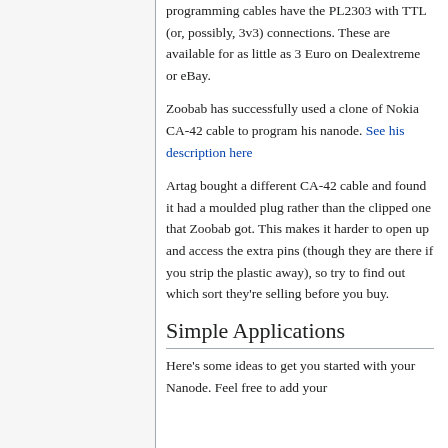programming cables have the PL2303 with TTL (or, possibly, 3v3) connections. These are available for as little as 3 Euro on Dealextreme or eBay.
Zoobab has successfully used a clone of Nokia CA-42 cable to program his nanode. See his description here
Artag bought a different CA-42 cable and found it had a moulded plug rather than the clipped one that Zoobab got. This makes it harder to open up and access the extra pins (though they are there if you strip the plastic away), so try to find out which sort they're selling before you buy.
Simple Applications
Here's some ideas to get you started with your Nanode. Feel free to add your